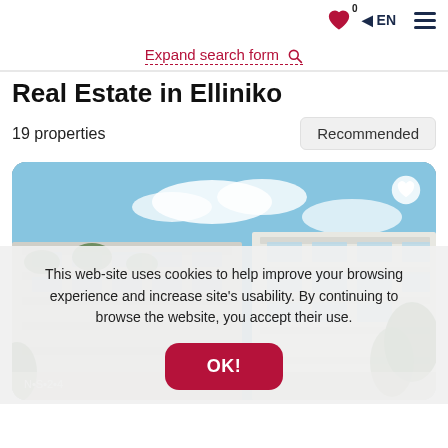0 ◄ EN ☰
Expand search form 🔍
Real Estate in Elliniko
19 properties
Recommended
[Figure (photo): Modern residential buildings with glass facades and greenery under blue sky]
This web-site uses cookies to help improve your browsing experience and increase site's usability. By continuing to browse the website, you accept their use.
OK!